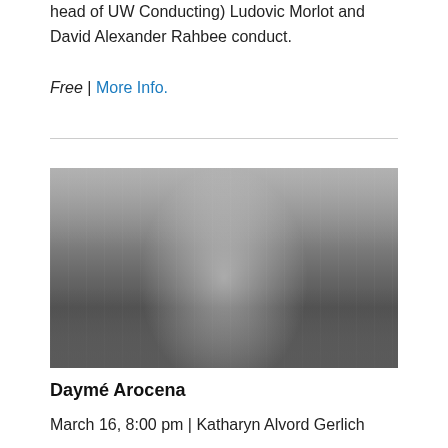head of UW Conducting) Ludovic Morlot and David Alexander Rahbee conduct.
Free | More Info.
[Figure (photo): Black and white photograph of a smiling woman in a white head wrap and white short-sleeved top, arms raised, standing in a columned corridor or arcade.]
Daymé Arocena
March 16, 8:00 pm | Katharyn Alvord Gerlich